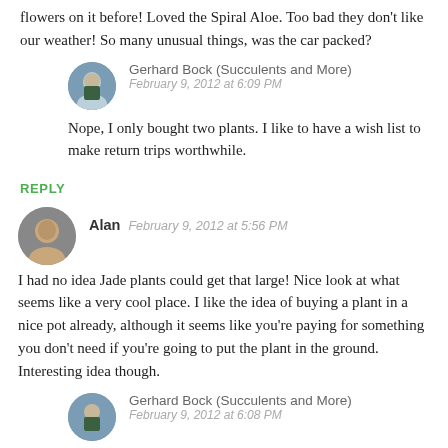flowers on it before! Loved the Spiral Aloe. Too bad they don't like our weather! So many unusual things, was the car packed?
Gerhard Bock (Succulents and More)
February 9, 2012 at 6:09 PM
Nope, I only bought two plants. I like to have a wish list to make return trips worthwhile.
REPLY
Alan   February 9, 2012 at 5:56 PM
I had no idea Jade plants could get that large! Nice look at what seems like a very cool place. I like the idea of buying a plant in a nice pot already, although it seems like you're paying for something you don't need if you're going to put the plant in the ground. Interesting idea though.
Gerhard Bock (Succulents and More)
February 9, 2012 at 6:08 PM
I really appreciate their efforts to reduce